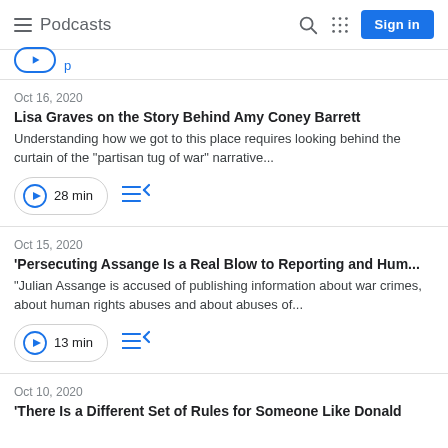Podcasts
Oct 16, 2020
Lisa Graves on the Story Behind Amy Coney Barrett
Understanding how we got to this place requires looking behind the curtain of the "partisan tug of war" narrative...
28 min
Oct 15, 2020
'Persecuting Assange Is a Real Blow to Reporting and Hum...
"Julian Assange is accused of publishing information about war crimes, about human rights abuses and about abuses of...
13 min
Oct 10, 2020
'There Is a Different Set of Rules for Someone Like Donald